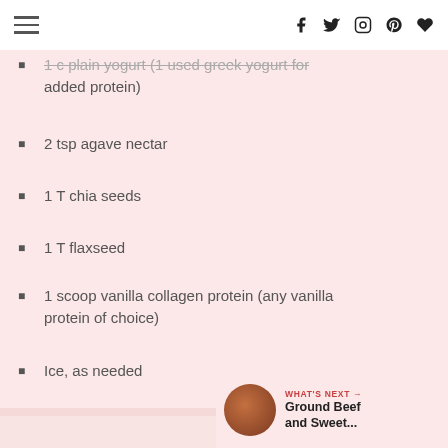[hamburger menu] [social icons: f, twitter, instagram, pinterest, heart]
1 c plain yogurt (1 used greek yogurt for added protein)
2 tsp agave nectar
1 T chia seeds
1 T flaxseed
1 scoop vanilla collagen protein (any vanilla protein of choice)
Ice, as needed
[Figure (photo): Food photo area (light pink/white background)]
WHAT'S NEXT → Ground Beef and Sweet...